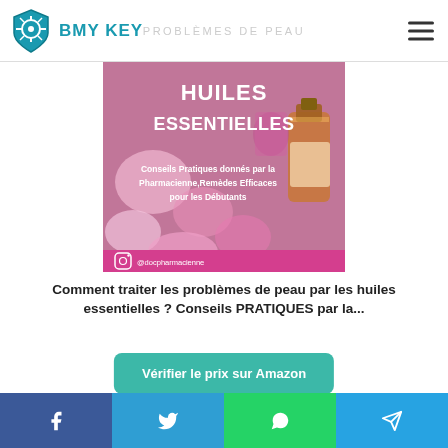BMY KEY | PROBLÈMES DE PEAU
[Figure (illustration): Book/product cover image for 'Huiles Essentielles' featuring flowers and essential oil bottles. Text on image: HUILES ESSENTIELLES, Conseils Pratiques donnés par la Pharmacienne, Remèdes Efficaces pour les Débutants, @docpharmacienne (Instagram logo)]
Comment traiter les problèmes de peau par les huiles essentielles ? Conseils PRATIQUES par la...
Vérifier le prix sur Amazon
Amazon.fr